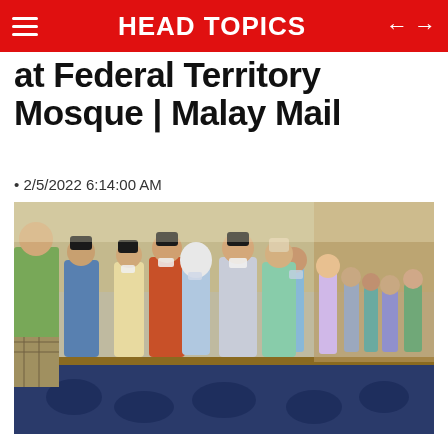HEAD TOPICS
at Federal Territory Mosque | Malay Mail
2/5/2022 6:14:00 AM
[Figure (photo): A group of people in traditional Malay attire, some wearing face masks, gathered inside a large hall, likely a mosque, greeting each other during Aidilfitri celebrations.]
Agong, Raja Permaisuri perform Aidilfitri prayers at Federal Territory